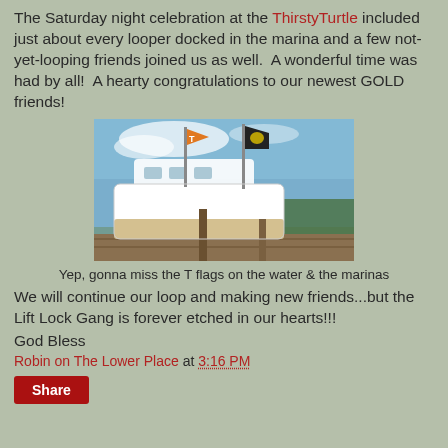The Saturday night celebration at the ThirstyTurtle included just about every looper docked in the marina and a few not-yet-looping friends joined us as well.  A wonderful time was had by all!  A hearty congratulations to our newest GOLD friends!
[Figure (photo): A boat docked at a marina with an orange flag and a black flag with a yellow symbol flying from the mast, blue sky with light clouds in the background, green trees visible on the right.]
Yep, gonna miss the T flags on the water & the marinas
We will continue our loop and making new friends...but the Lift Lock Gang is forever etched in our hearts!!!
God Bless
Robin on The Lower Place at 3:16 PM